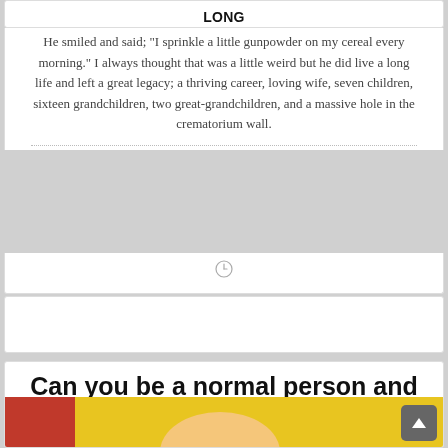LONG
He smiled and said; "I sprinkle a little gunpowder on my cereal every morning." I always thought that was a little weird but he did live a long life and left a great legacy; a thriving career, loving wife, seven children, sixteen grandchildren, two great-grandchildren, and a massive hole in the crematorium wall.
[Figure (other): Clock/time icon]
[Figure (other): Empty white card / advertisement area]
[Figure (other): Meme image with bold text: 'Can you be a normal person and just lick your finger when turning a page!' with emoji face, and a cartoon scene at the bottom]